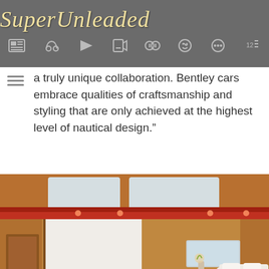SuperUnleaded
a truly unique collaboration. Bentley cars embrace qualities of craftsmanship and styling that are only achieved at the highest level of nautical design.”
[Figure (photo): Interior of a luxury yacht cabin with warm wood paneling, red-trimmed ceiling with skylights, white upholstered seating and dining chairs around a wooden table, and warm ambient lighting.]